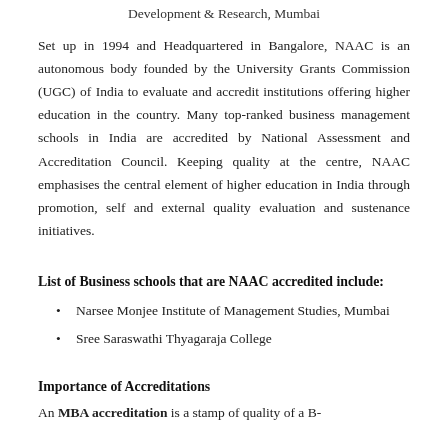Development & Research, Mumbai
Set up in 1994 and Headquartered in Bangalore, NAAC is an autonomous body founded by the University Grants Commission (UGC) of India to evaluate and accredit institutions offering higher education in the country. Many top-ranked business management schools in India are accredited by National Assessment and Accreditation Council. Keeping quality at the centre, NAAC emphasises the central element of higher education in India through promotion, self and external quality evaluation and sustenance initiatives.
List of Business schools that are NAAC accredited include:
Narsee Monjee Institute of Management Studies, Mumbai
Sree Saraswathi Thyagaraja College
Importance of Accreditations
An MBA accreditation is a stamp of quality of a B-